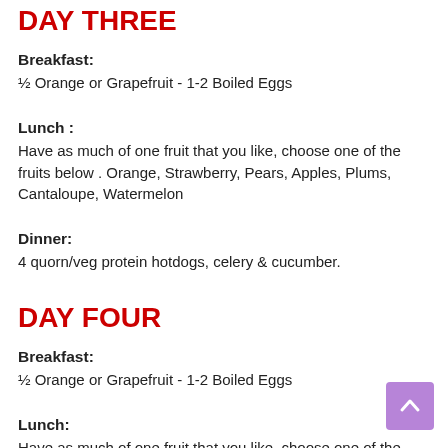DAY THREE
Breakfast:
½ Orange or Grapefruit - 1-2 Boiled Eggs
Lunch :
Have as much of one fruit that you like, choose one of the fruits below . Orange, Strawberry, Pears, Apples, Plums, Cantaloupe, Watermelon
Dinner:
4 quorn/veg protein hotdogs, celery & cucumber.
DAY FOUR
Breakfast:
½ Orange or Grapefruit - 1-2 Boiled Eggs
Lunch:
Have as much of one fruit that you like, choose one of the